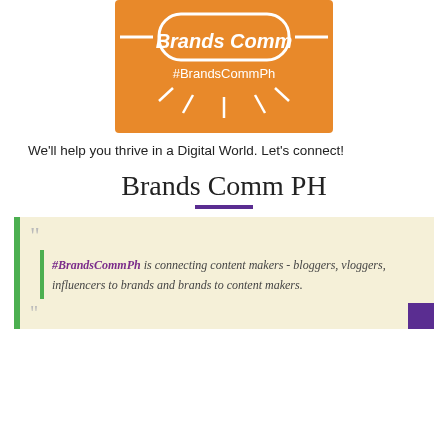[Figure (logo): Brands Comm logo on orange background with #BrandsCommPh hashtag and radiating lines]
We'll help you thrive in a Digital World. Let's connect!
Brands Comm PH
#BrandsCommPh is connecting content makers - bloggers, vloggers, influencers to brands and brands to content makers.